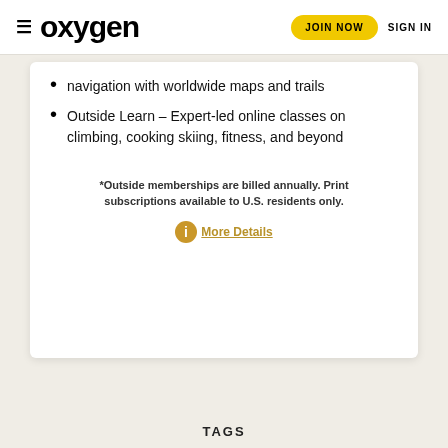oxygen  JOIN NOW  SIGN IN
navigation with worldwide maps and trails
Outside Learn – Expert-led online classes on climbing, cooking skiing, fitness, and beyond
*Outside memberships are billed annually. Print subscriptions available to U.S. residents only.
More Details
TAGS